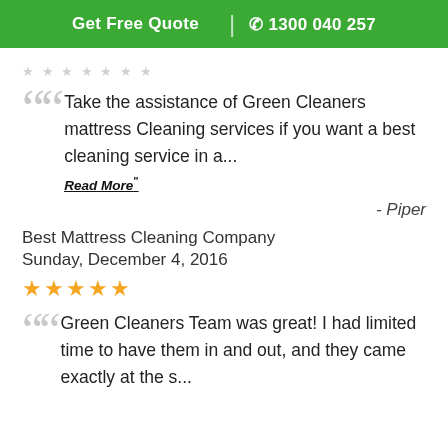Get Free Quote | 1300 040 257
Take the assistance of Green Cleaners mattress Cleaning services if you want a best cleaning service in a...
Read More"
- Piper
Best Mattress Cleaning Company
Sunday, December 4, 2016
★★★★★
Green Cleaners Team was great! I had limited time to have them in and out, and they came exactly at the s...